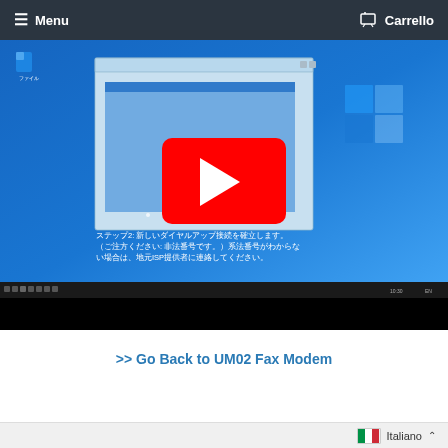≡ Menu  🛒 Carrello
[Figure (screenshot): Screenshot of a Windows 10 desktop with a dialog box open, a YouTube play button overlay in the center, Japanese text at the bottom reading instructions about establishing a new dial-up connection, and a Windows taskbar at the bottom.]
>> Go Back to UM02 Fax Modem
🇮🇹 Italiano ^